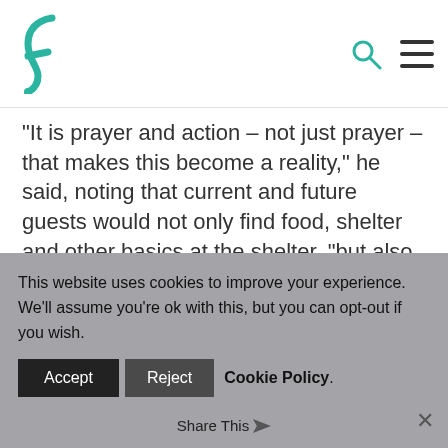F logo, search icon, menu icon
“It is prayer and action – not just prayer – that makes this become a reality,” he said, noting that current and future guests would not only find food, shelter and other basics at the shelter, “but also a listening ear, a comforting word and a compassionate heart.”
Sacred, dignified spaces
After the ceremony, attendees were
This website uses cookies to improve your experience. We’ll assume you’re ok with this, but you can opt-out if you wish.